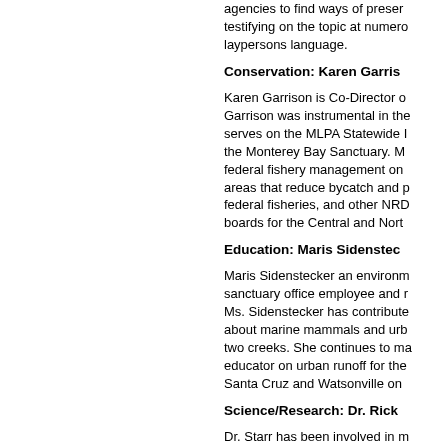agencies to find ways of preserving testifying on the topic at numerous laypersons language.
Conservation: Karen Garris
Karen Garrison is Co-Director o Garrison was instrumental in the serves on the MLPA Statewide the Monterey Bay Sanctuary. M federal fishery management on areas that reduce bycatch and p federal fisheries, and other NRD boards for the Central and Nort
Education: Maris Sidenstec
Maris Sidenstecker an environm sanctuary office employee and Ms. Sidenstecker has contribute about marine mammals and urb two creeks. She continues to m educator on urban runoff for the Santa Cruz and Watsonville on
Science/Research: Dr. Rick
Dr. Starr has been involved in m populations, and providing advi well recognized as an authority fishes along the west coast of th Marine Life Protection Act (MLP Governor's Blue Ribbon Task Fo
Business: Passionfish